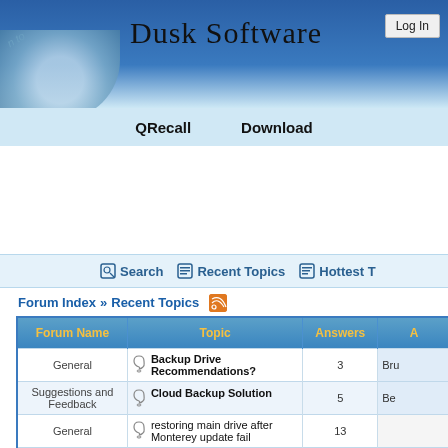Dusk Software — Log In
QRecall    Download
Search   Recent Topics   Hottest T…
Forum Index » Recent Topics
| Forum Name | Topic | Answers | A… |
| --- | --- | --- | --- |
| General | Backup Drive Recommendations? | 3 | Bru… |
| Suggestions and Feedback | Cloud Backup Solution | 5 | Be… |
| General | restoring main drive after Monterey update fail | 13 | … |
| General | One-off folder capture retention? | 3 | Stev… |
| Beta Version | Understanding Stacks | 1 | Jo… |